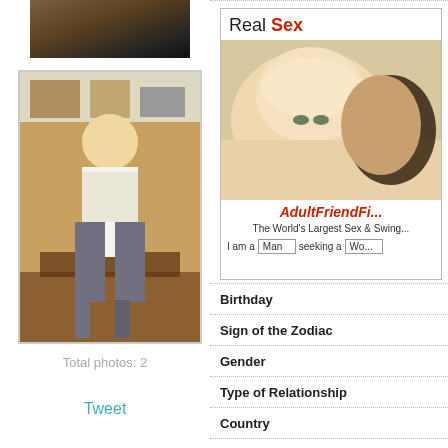[Figure (photo): Partial photo of a person, cropped at top]
[Figure (photo): Full-length photo of a blonde woman in white t-shirt and jeans standing in a kitchen/bar area]
Total photos: 2
Tweet
[Figure (screenshot): Adult Friend Finder advertisement banner with title 'Real Sex', photo of blonde woman, brand name 'AdultFriendFi...', tagline 'The World's Largest Sex & Swing...', and form fields 'I am a [Man] seeking a [Wo...']
Birthday
Sign of the Zodiac
Gender
Type of Relationship
Country
Email